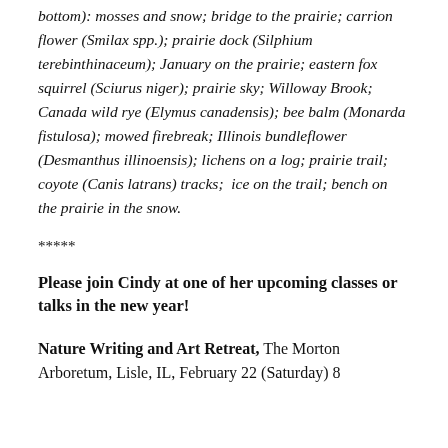bottom): mosses and snow; bridge to the prairie; carrion flower (Smilax spp.); prairie dock (Silphium terebinthinaceum); January on the prairie; eastern fox squirrel (Sciurus niger); prairie sky; Willoway Brook; Canada wild rye (Elymus canadensis); bee balm (Monarda fistulosa); mowed firebreak; Illinois bundleflower (Desmanthus illinoensis); lichens on a log; prairie trail; coyote (Canis latrans) tracks;  ice on the trail; bench on the prairie in the snow.
*****
Please join Cindy at one of her upcoming classes or talks in the new year!
Nature Writing and Art Retreat, The Morton Arboretum, Lisle, IL, February 22 (Saturday) 8